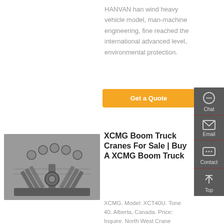HANVAN han wind heavy vehicle model, man-machine engineering, fine reached the international advanced level, environmental protection.
Get a Quote
[Figure (photo): Close-up photo of a V-type engine or mechanical component with metallic arms and cylindrical parts arranged in a V-pattern]
XCMG Boom Truck Cranes For Sale | Buy A XCMG Boom Truck
XCMG. Model: XCT40U. Tone 40. Alberta, Canada. Price: Inquire. North West Crane Enterprise...